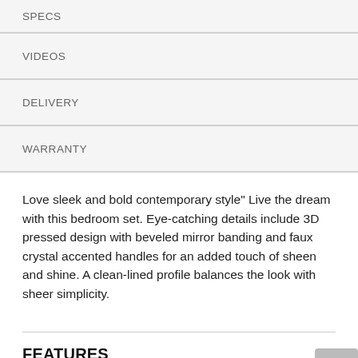SPECS
VIDEOS
DELIVERY
WARRANTY
Love sleek and bold contemporary style" Live the dream with this bedroom set. Eye-catching details include 3D pressed design with beveled mirror banding and faux crystal accented handles for an added touch of sheen and shine. A clean-lined profile balances the look with sheer simplicity.
FEATURES
Includes queen panel bed (with headboard